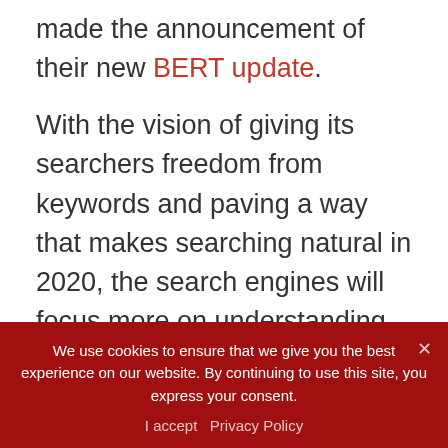made the announcement of their new BERT update.
With the vision of giving its searchers freedom from keywords and paving a way that makes searching natural in 2020, the search engines will focus more on understanding the intent behind the query instead of the query itself.
#Trend 5: Aim for the Featured Snippet
We use cookies to ensure that we give you the best experience on our website. By continuing to use this site, you express your consent.
I accept  Privacy Policy